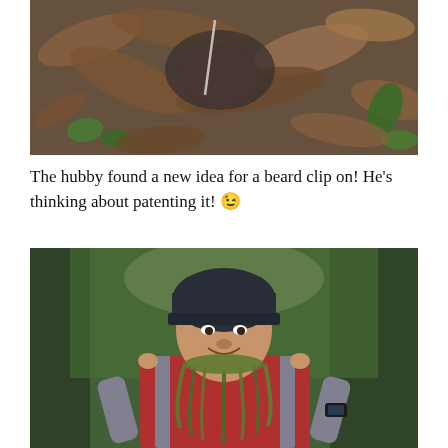[Figure (photo): Close-up photo of forest floor debris: dry brown leaves, pine needles, twigs, small green plants, and dark soil.]
The hubby found a new idea for a beard clip on! He's thinking about patenting it! 😉
[Figure (photo): A smiling man wearing a dark knit beanie and red vest stands in a green forest, holding up a long strand of green moss to his chin like a beard, pointing at it with both index fingers.]